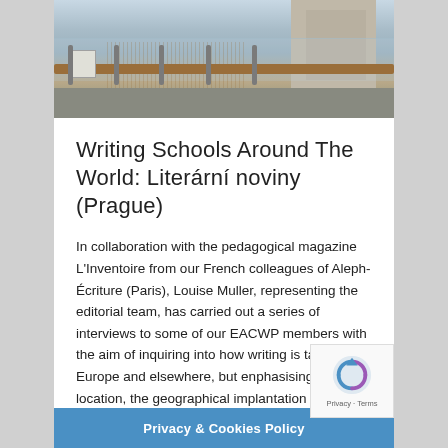[Figure (photo): Exterior architectural photo showing a building with glass railing panels, a wooden/bronze handrail bar, a concrete wall section, a light fixture box, and a mesh/screen area.]
Writing Schools Around The World: Literární noviny (Prague)
In collaboration with the pedagogical magazine L'Inventoire from our French colleagues of Aleph-Écriture (Paris), Louise Muller, representing the editorial team, has carried out a series of interviews to some of our EACWP members with the aim of inquiring into how writing is taught in Europe and elsewhere, but enphasising the location, the geographical implantation and the close environment of the different institutions. This i with Petr Bilek, he